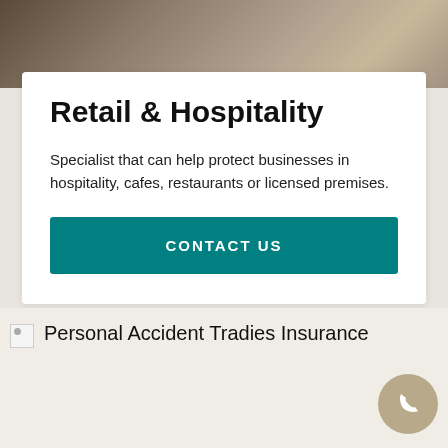[Figure (photo): Top photo showing a restaurant or hospitality workspace with wooden table, laptop, and papers/folders in a warm-toned environment]
Retail & Hospitality
Specialist that can help protect businesses in hospitality, cafes, restaurants or licensed premises.
CONTACT US
[Figure (photo): Broken image placeholder for Personal Accident Tradies Insurance with alt text visible]
Personal Accident Tradies Insurance